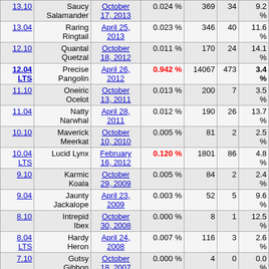| Version | Name | Release Date | % Share | Installs | Bugs | Bug% |
| --- | --- | --- | --- | --- | --- | --- |
| 13.10 | Saucy Salamander | October 17, 2013 | 0.024 % | 369 | 34 | 9.2 % |
| 13.04 | Raring Ringtail | April 25, 2013 | 0.023 % | 346 | 40 | 11.6 % |
| 12.10 | Quantal Quetzal | October 18, 2012 | 0.011 % | 170 | 24 | 14.1 % |
| 12.04 LTS | Precise Pangolin | April 26, 2012 | 0.942 % | 14067 | 473 | 3.4 % |
| 11.10 | Oneiric Ocelot | October 13, 2011 | 0.013 % | 200 | 7 | 3.5 % |
| 11.04 | Natty Narwhal | April 28, 2011 | 0.012 % | 190 | 26 | 13.7 % |
| 10.10 | Maverick Meerkat | October 10, 2010 | 0.005 % | 81 | 2 | 2.5 % |
| 10.04 LTS | Lucid Lynx | February 16, 2012 | 0.120 % | 1801 | 86 | 4.8 % |
| 9.10 | Karmic Koala | October 29, 2009 | 0.005 % | 84 | 2 | 2.4 % |
| 9.04 | Jaunty Jackalope | April 23, 2009 | 0.003 % | 52 | 5 | 9.6 % |
| 8.10 | Intrepid Ibex | October 30, 2008 | 0.000 % | 8 | 1 | 12.5 % |
| 8.04 LTS | Hardy Heron | April 24, 2008 | 0.007 % | 116 | 3 | 2.6 % |
| 7.10 | Gutsy Gibbon | October 18, 2007 | 0.000 % | 4 | 0 | 0.0 % |
| 7.04 | Feisty Fawn | April 19, 2007 | 0.000 % | 4 | 1 | 25.0 % |